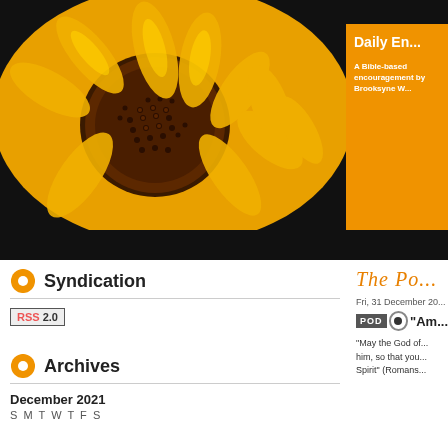[Figure (photo): Close-up photo of a sunflower with bright yellow petals and dark orange-brown center on a black background]
Daily En...
A Bible-based encouragement by Brooksyne W...
Syndication
[Figure (logo): RSS 2.0 badge]
Archives
December 2021
S  M  T  W  T  F  S
The Po...
Fri, 31 December 20...
"Am...
"May the God of... him, so that you... Spirit" (Romans...